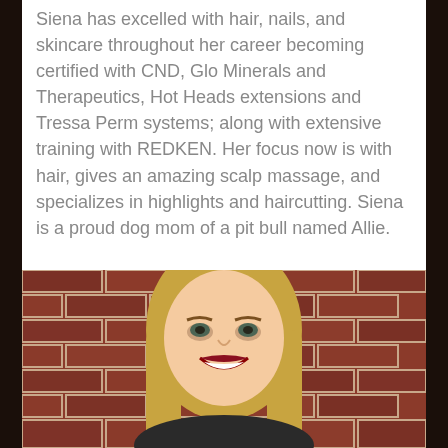Siena has excelled with hair, nails, and skincare throughout her career becoming certified with CND, Glo Minerals and Therapeutics, Hot Heads extensions and Tressa Perm systems; along with extensive training with REDKEN. Her focus now is with hair, gives an amazing scalp massage, and specializes in highlights and haircutting. Siena is a proud dog mom of a pit bull named Allie.
[Figure (photo): Headshot of a smiling blonde woman in front of a red brick wall, wearing dark lipstick.]